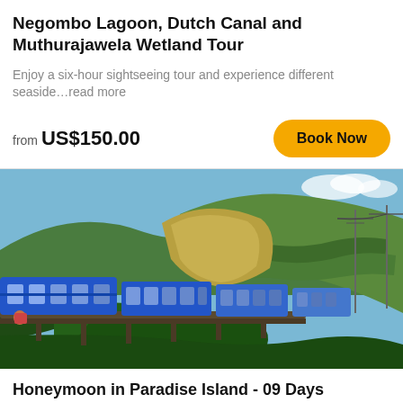Negombo Lagoon, Dutch Canal and Muthurajawela Wetland Tour
Enjoy a six-hour sightseeing tour and experience different seaside...read more
from US$150.00
[Figure (photo): A blue passenger train traveling along a viaduct through lush green Sri Lankan highland terrain with tea plantations and hills in the background]
Honeymoon in Paradise Island - 09 Days
Embrace this exclusive honeymoon package designed by Sri Lanka Beyond...read more